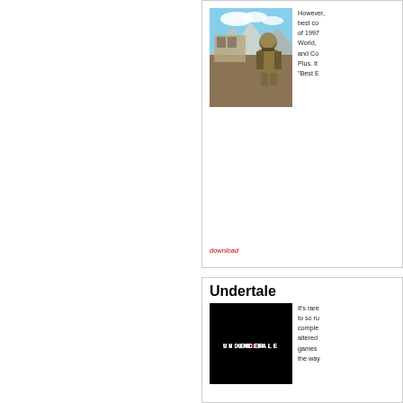[Figure (screenshot): Screenshot from a video game showing an armored character in front of a building with mountains and blue sky in the background.]
However, best co of 1997 World, and Co Plus. It "Best E
download
Undertale
[Figure (screenshot): Undertale game logo: white pixel-style text 'UNDERTALE' on black background with a small red heart replacing the A in UNDER.]
It's rare to so ru comple altered games the way